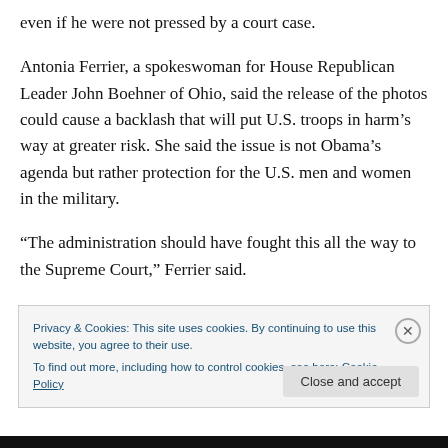even if he were not pressed by a court case.
Antonia Ferrier, a spokeswoman for House Republican Leader John Boehner of Ohio, said the release of the photos could cause a backlash that will put U.S. troops in harm’s way at greater risk. She said the issue is not Obama’s agenda but rather protection for the U.S. men and women in the military.
“The administration should have fought this all the way to the Supreme Court,” Ferrier said.
Privacy & Cookies: This site uses cookies. By continuing to use this website, you agree to their use.
To find out more, including how to control cookies, see here: Cookie Policy